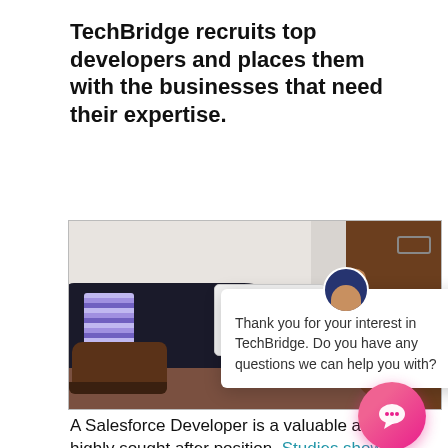TechBridge recruits top developers and places them with the businesses that need their expertise.
[Figure (screenshot): Screenshot of a webpage showing a person sitting and using a tablet, with a chat popup overlay that reads 'Thank you for your interest in TechBridge. Do you have any questions we can help you with?' and a pink chat button in the bottom right corner.]
A Salesforce Developer is a valuable and highly sought after position. Studies show